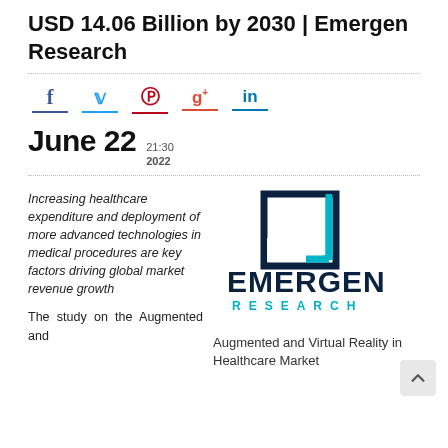USD 14.06 Billion by 2030 | Emergen Research
[Figure (infographic): Social media share icons: Facebook (blue f), Twitter (blue bird), Pinterest (red P), Google+ (red g+), LinkedIn (blue in), each with colored underline]
June 22  21:30  2022
Increasing healthcare expenditure and deployment of more advanced technologies in medical procedures are key factors driving global market revenue growth
[Figure (logo): Emergen Research logo: square bracket icon in dark navy and teal, with EMERGEN in bold dark navy and RESEARCH in teal spaced letters]
Augmented and Virtual Reality in Healthcare Market
The study on the Augmented and